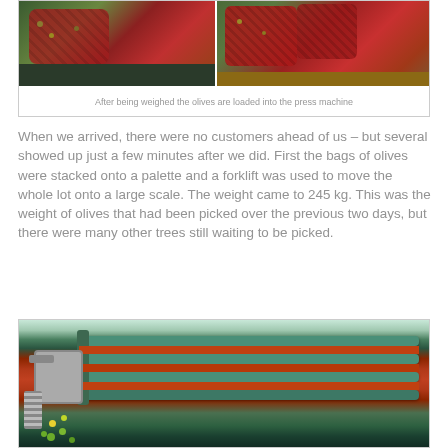[Figure (photo): Two photos side by side showing bags of olives on scales/palettes in a press facility. Red mesh bags of olives are visible on the left and right panels.]
After being weighed the olives are loaded into the press machine
When we arrived, there were no customers ahead of us – but several showed up just a few minutes after we did. First the bags of olives were stacked onto a palette and a forklift was used to move the whole lot onto a large scale. The weight came to 245 kg. This was the weight of olives that had been picked over the previous two days, but there were many other trees still waiting to be picked.
[Figure (photo): Close-up photo of an olive press machine showing green/teal metal bars/grates with red surfaces, a spring coil mechanism on the left, and olives visible at the bottom left.]